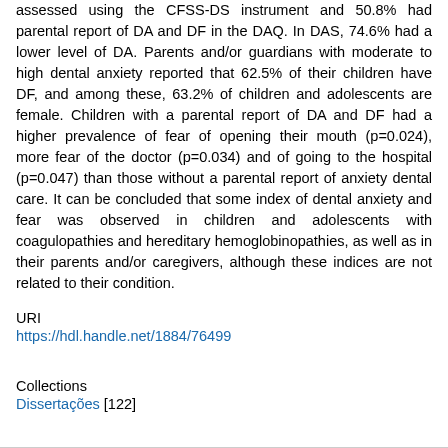assessed using the CFSS-DS instrument and 50.8% had parental report of DA and DF in the DAQ. In DAS, 74.6% had a lower level of DA. Parents and/or guardians with moderate to high dental anxiety reported that 62.5% of their children have DF, and among these, 63.2% of children and adolescents are female. Children with a parental report of DA and DF had a higher prevalence of fear of opening their mouth (p=0.024), more fear of the doctor (p=0.034) and of going to the hospital (p=0.047) than those without a parental report of anxiety dental care. It can be concluded that some index of dental anxiety and fear was observed in children and adolescents with coagulopathies and hereditary hemoglobinopathies, as well as in their parents and/or caregivers, although these indices are not related to their condition.
URI
https://hdl.handle.net/1884/76499
Collections
Dissertações [122]